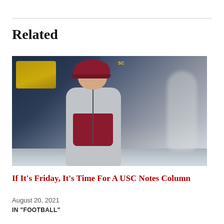Related
[Figure (photo): USC football coach wearing gray and maroon Nike jacket and USC maroon cap, standing on field, mouth open, blurred background with yellow bleachers and other figures]
If It's Friday, It's Time For A USC Notes Column
August 20, 2021
IN "FOOTBALL"